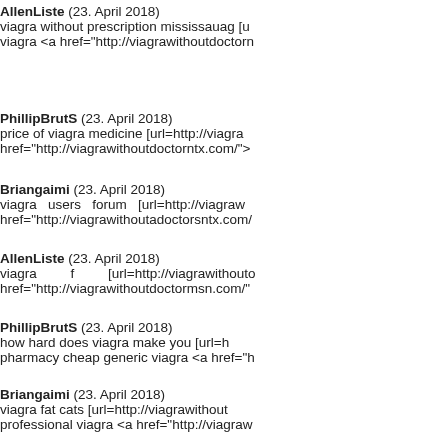AllenListe (23. April 2018) viagra without prescription mississauag [u... viagra <a href="http://viagrawithoutdoctorn...
PhillipBrutS (23. April 2018) price of viagra medicine [url=http://viagra... href="http://viagrawithoutdoctorntx.com/">...
Briangaimi (23. April 2018) viagra users forum [url=http://viagraw... href="http://viagrawithoutadoctorsntx.com/...
AllenListe (23. April 2018) viagra f [url=http://viagrawithouto... href="http://viagrawithoutdoctormsn.com/"...
PhillipBrutS (23. April 2018) how hard does viagra make you [url=h... pharmacy cheap generic viagra <a href="h...
Briangaimi (23. April 2018) viagra fat cats [url=http://viagrawithout... professional viagra <a href="http://viagraw...
AllenListe (23. April 2018) edinburgh pages search viagra [u... prescription[/url] viagra 50mg <a href="http...
PhillipBrutS (23. April 2018) viagra online without prescription milwak... viagra for female <a href="http://viagrawith...
Briangaimi (23. April 2018) he took viagra and fucked me [url=http://...